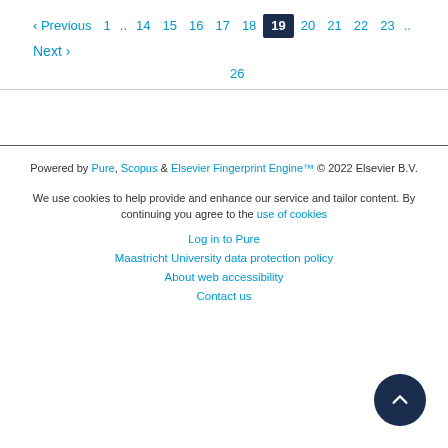‹ Previous  1 .. 14 15 16 17 18  19  20 21 22 23 .. 26  Next ›
Powered by Pure, Scopus & Elsevier Fingerprint Engine™ © 2022 Elsevier B.V.
We use cookies to help provide and enhance our service and tailor content. By continuing you agree to the use of cookies
Log in to Pure
Maastricht University data protection policy
About web accessibility
Contact us